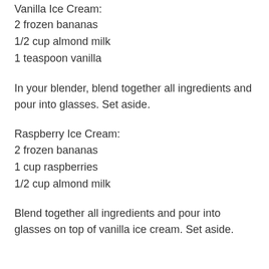Vanilla Ice Cream:
2 frozen bananas
1/2 cup almond milk
1 teaspoon vanilla
In your blender, blend together all ingredients and pour into glasses. Set aside.
Raspberry Ice Cream:
2 frozen bananas
1 cup raspberries
1/2 cup almond milk
Blend together all ingredients and pour into glasses on top of vanilla ice cream. Set aside.